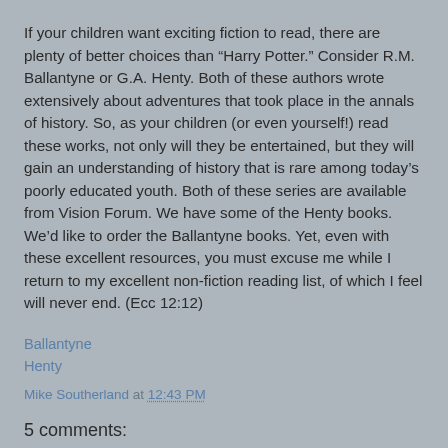If your children want exciting fiction to read, there are plenty of better choices than “Harry Potter.” Consider R.M. Ballantyne or G.A. Henty. Both of these authors wrote extensively about adventures that took place in the annals of history. So, as your children (or even yourself!) read these works, not only will they be entertained, but they will gain an understanding of history that is rare among today’s poorly educated youth. Both of these series are available from Vision Forum. We have some of the Henty books. We’d like to order the Ballantyne books. Yet, even with these excellent resources, you must excuse me while I return to my excellent non-fiction reading list, of which I feel will never end. (Ecc 12:12)
Ballantyne
Henty
Mike Southerland at 12:43 PM
5 comments: